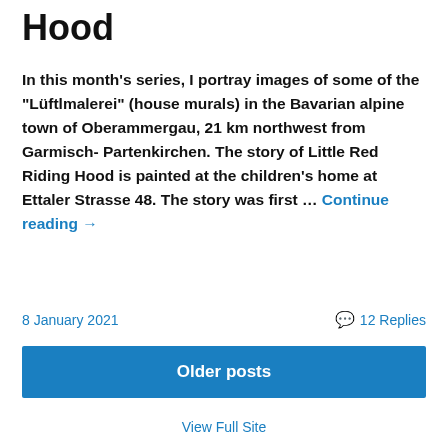Hood
In this month's series, I portray images of some of the "Lüftlmalerei" (house murals) in the Bavarian alpine town of Oberammergau, 21 km northwest from Garmisch-Partenkirchen. The story of Little Red Riding Hood is painted at the children's home at Ettaler Strasse 48. The story was first … Continue reading →
8 January 2021
💬 12 Replies
Older posts
View Full Site